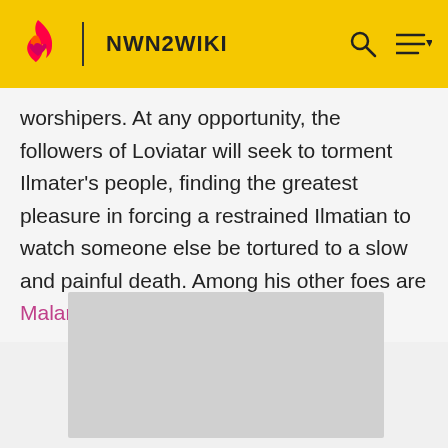NWN2WIKI
worshipers. At any opportunity, the followers of Loviatar will seek to torment Ilmater's people, finding the greatest pleasure in forcing a restrained Ilmatian to watch someone else be tortured to a slow and painful death. Among his other foes are Malar and Talos.
[Figure (photo): Gray placeholder image block]